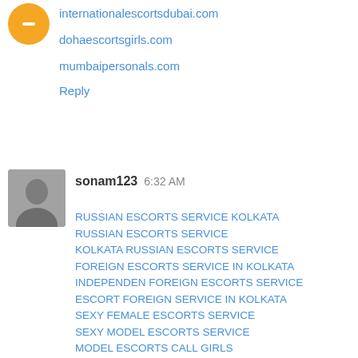internationalescortsdubai.com
dohaescortsgirls.com
mumbaipersonals.com
Reply
sonam123  6:32 AM
RUSSIAN ESCORTS SERVICE KOLKATA
RUSSIAN ESCORTS SERVICE
KOLKATA RUSSIAN ESCORTS SERVICE
FOREIGN ESCORTS SERVICE IN KOLKATA
INDEPENDEN FOREIGN ESCORTS SERVICE
ESCORT FOREIGN SERVICE IN KOLKATA
SEXY FEMALE ESCORTS SERVICE
SEXY MODEL ESCORTS SERVICE
MODEL ESCORTS CALL GIRLS
MODEL ESCORTS CALL GIRLS SERVICE
CALL GIRLS SERVICE KOLKATA